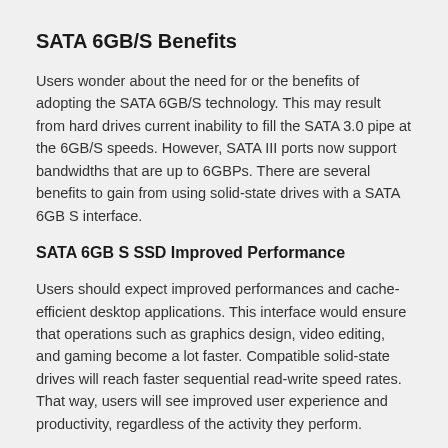SATA 6GB/S Benefits
Users wonder about the need for or the benefits of adopting the SATA 6GB/S technology. This may result from hard drives current inability to fill the SATA 3.0 pipe at the 6GB/S speeds. However, SATA III ports now support bandwidths that are up to 6GBPs. There are several benefits to gain from using solid-state drives with a SATA 6GB S interface.
SATA 6GB S SSD Improved Performance
Users should expect improved performances and cache-efficient desktop applications. This interface would ensure that operations such as graphics design, video editing, and gaming become a lot faster. Compatible solid-state drives will reach faster sequential read-write speed rates. That way, users will see improved user experience and productivity, regardless of the activity they perform.
Compatibility SSD SATA 6.0 GB S
Another great advantage of these drives is that they work